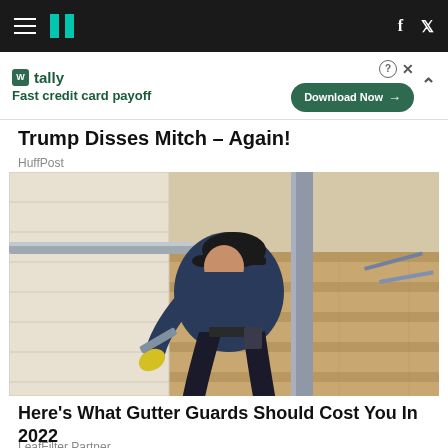HuffPost navigation bar with hamburger menu, logo, Facebook and Twitter icons
[Figure (screenshot): Advertisement banner: Tally - Fast credit card payoff. Download Now button. Close and question controls.]
Trump Disses Mitch – Again!
HuffPost
[Figure (photo): A worker in a dark blue hoodie and black cap wearing yellow gloves cleans or installs a gutter on a residential rooftop with brown shingles and a downspout pipe.]
Here's What Gutter Guards Should Cost You In 2022
LeafFilter Partner